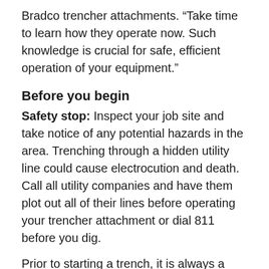Bradco trencher attachments. “Take time to learn how they operate now. Such knowledge is crucial for safe, efficient operation of your equipment.”
Before you begin
Safety stop: Inspect your job site and take notice of any potential hazards in the area. Trenching through a hidden utility line could cause electrocution and death. Call all utility companies and have them plot out all of their lines before operating your trencher attachment or dial 811 before you dig.
Prior to starting a trench, it is always a good idea to plan out your job. Several variables need to be taken into account before trenching:
Trench requirements